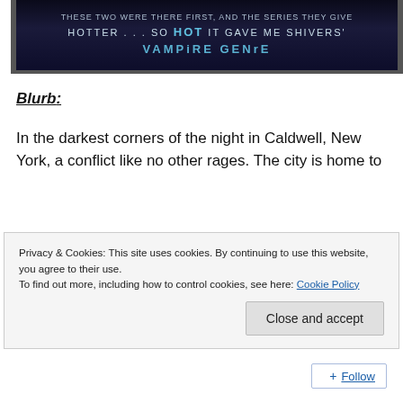[Figure (illustration): Dark book cover banner with text: 'HOTTER ... SO HOT IT GAVE ME SHIVERS' VAMPIRE GENRE on dark blue/black background]
Blurb:
In the darkest corners of the night in Caldwell, New York, a conflict like no other rages. The city is home to
Privacy & Cookies: This site uses cookies. By continuing to use this website, you agree to their use.
To find out more, including how to control cookies, see here: Cookie Policy
Close and accept